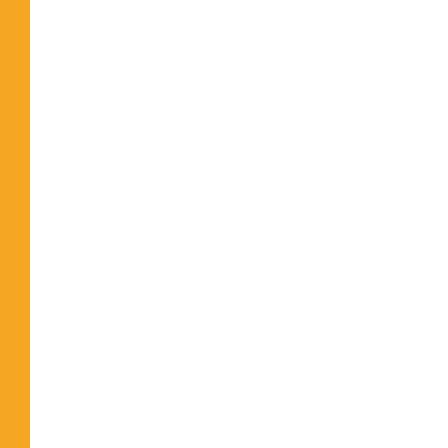| No. | Date | Title |
| --- | --- | --- |
| 583. | 24/04/2017 | BSc III Comp |
| 584. | 24/04/2017 | BSc III Comp |
| 585. | 24/04/2017 | BSc III Comp |
| 586. | 24/04/2017 | BSc III Comp |
| 587. | 10/04/2017 | Syllabus for Courses (An |
| 588. | 31/03/2017 | CHANGE in Course in Yo |
| 589. | 31/03/2017 | Grant of Gol Courses UG Examination |
| 590. | 24/03/2017 | ADDITIONS- Examination |
| 591. | 22/03/2017 | Grant Of Gol PG Courses |
| 592. | 21/03/2017 | ADDITIONS- Examination |
| 593. | 16/03/2017 | Facilities pro appointment |
| 594. | 10/03/2017 | Recommend |